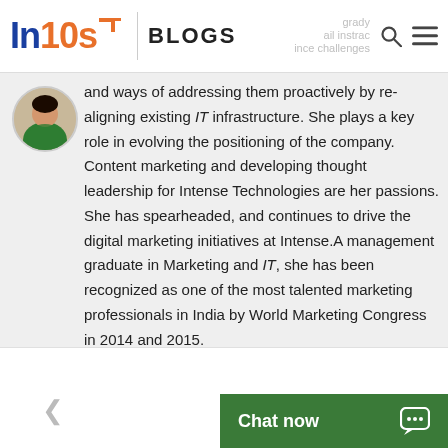In10s BLOGS
[Figure (photo): Circular avatar of a woman in a green saree]
and ways of addressing them proactively by re-aligning existing IT infrastructure. She plays a key role in evolving the positioning of the company. Content marketing and developing thought leadership for Intense Technologies are her passions. She has spearheaded, and continues to drive the digital marketing initiatives at Intense.A management graduate in Marketing and IT, she has been recognized as one of the most talented marketing professionals in India by World Marketing Congress in 2014 and 2015.